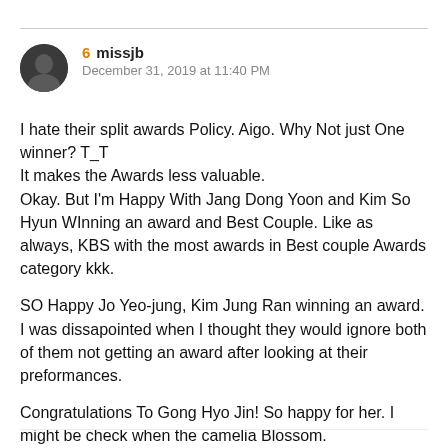[Figure (illustration): Round user avatar with dark silhouette photo]
6  missjb
December 31, 2019 at 11:40 PM
I hate their split awards Policy. Aigo. Why Not just One winner? T_T
It makes the Awards less valuable.
Okay. But I'm Happy With Jang Dong Yoon and Kim So Hyun WInning an award and Best Couple. Like as always, KBS with the most awards in Best couple Awards category kkk.
SO Happy Jo Yeo-jung, Kim Jung Ran winning an award. I was dissapointed when I thought they would ignore both of them not getting an award after looking at their preformances.
Congratulations To Gong Hyo Jin! So happy for her. I might be check when the camelia Blossom.